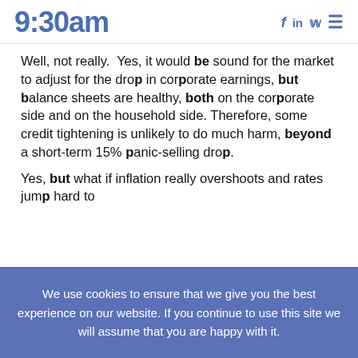9:30am | f in y ≡
Well, not really.  Yes, it would be sound for the market to adjust for the drop in corporate earnings, but balance sheets are healthy, both on the corporate side and on the household side. Therefore, some credit tightening is unlikely to do much harm, beyond a short-term 15% panic-selling drop.
Yes, but what if inflation really overshoots and rates jump hard to
We use cookies to ensure that we give you the best experience on our website. If you continue to use this site we will assume that you are happy with it.